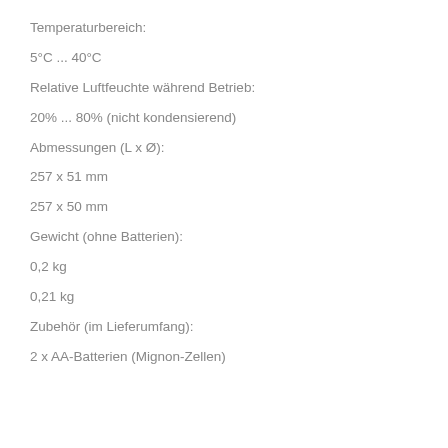Temperaturbereich:
5°C ... 40°C
Relative Luftfeuchte während Betrieb:
20% ... 80% (nicht kondensierend)
Abmessungen (L x Ø):
257 x 51 mm
257 x 50 mm
Gewicht (ohne Batterien):
0,2 kg
0,21 kg
Zubehör (im Lieferumfang):
2 x AA-Batterien (Mignon-Zellen)